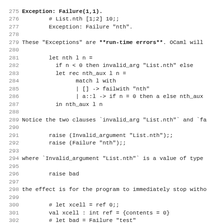Code listing lines 275-307 showing OCaml exception handling code and explanatory text
276    # List.nth [1;2] 10;;
277    Exception: Failure "nth".
278
279 These "Exceptions" are **run-time errors**. OCaml will
280
281    let nth l n =
282      if n < 0 then invalid_arg "List.nth" else
283      let rec nth_aux l n =
284            match l with
285            | [] -> failwith "nth"
286            | a::l -> if n = 0 then a else nth_aux
287      in nth_aux l n
288
289 Notice the two clauses `invalid_arg "List.nth"` and `fa
290
291    raise (Invalid_argument "List.nth");;
292    raise (Failure "nth");;
293
294 where `Invalid_argument "List.nth"` is a value of type
295
296    raise bad
297
298 the effect is for the program to immediately stop witho
299
300    # let xcell = ref 0;;
301    val xcell : int ref = {contents = 0}
302    # let bad = Failure "test"
303       in let _ = raise bad
304       in xcell := 1;;
305    Exception: Failure "test".
306    # !xcell;;
307    - : int = 0